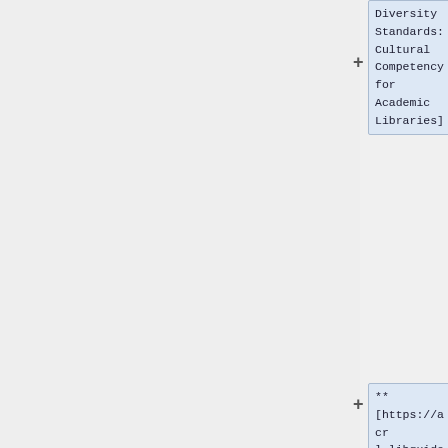Diversity Standards: Cultural Competency for Academic Libraries]
** [https://acrl.libguides.com/c.php?g=899144&p=6468942 "Reflection and Conclusion of the EDI Discussion Series"] by Hallie Clawson